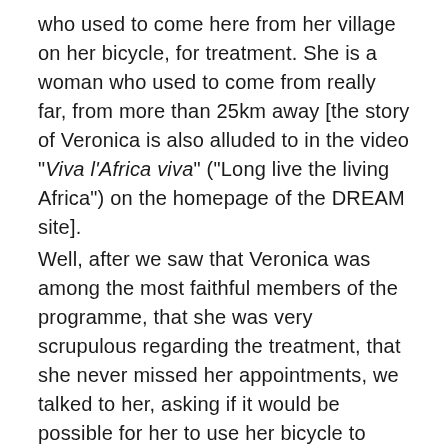who used to come here from her village on her bicycle, for treatment. She is a woman who used to come from really far, from more than 25km away [the story of Veronica is also alluded to in the video "Viva l'Africa viva" ("Long live the living Africa") on the homepage of the DREAM site]. Well, after we saw that Veronica was among the most faithful members of the programme, that she was very scrupulous regarding the treatment, that she never missed her appointments, we talked to her, asking if it would be possible for her to use her bicycle to take care of other patients too, and to save their lives as well. Veronica was enthusiastic about the proposal, which allowed her to make herself useful, to live her gratitude concretely, and to be close to many people who face the problem of being too far away from our centre of Mthengo...